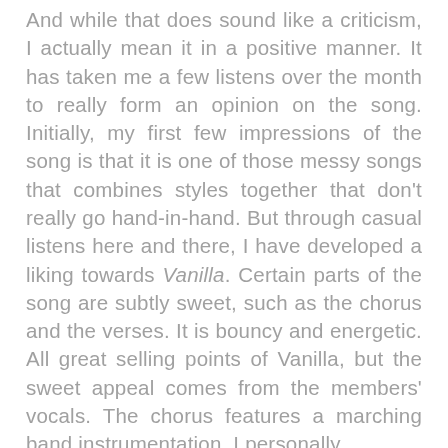And while that does sound like a criticism, I actually mean it in a positive manner. It has taken me a few listens over the month to really form an opinion on the song. Initially, my first few impressions of the song is that it is one of those messy songs that combines styles together that don't really go hand-in-hand. But through casual listens here and there, I have developed a liking towards Vanilla. Certain parts of the song are subtly sweet, such as the chorus and the verses. It is bouncy and energetic. All great selling points of Vanilla, but the sweet appeal comes from the members' vocals. The chorus features a marching band instrumentation. I personally